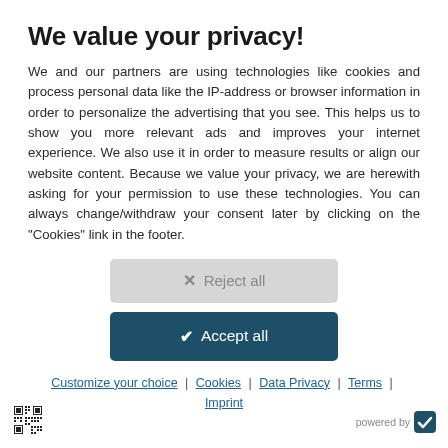We value your privacy!
We and our partners are using technologies like cookies and process personal data like the IP-address or browser information in order to personalize the advertising that you see. This helps us to show you more relevant ads and improves your internet experience. We also use it in order to measure results or align our website content. Because we value your privacy, we are herewith asking for your permission to use these technologies. You can always change/withdraw your consent later by clicking on the "Cookies" link in the footer.
✕  Reject all
✔  Accept all
Customize your choice | Cookies | Data Privacy | Terms | Imprint
[Figure (other): QR code in bottom left corner]
powered by